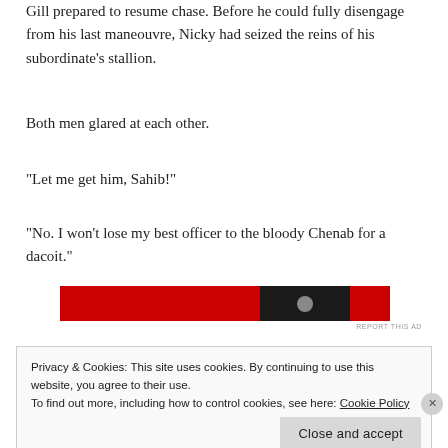Gill prepared to resume chase. Before he could fully disengage from his last maneouvre, Nicky had seized the reins of his subordinate's stallion.
Both men glared at each other.
“Let me get him, Sahib!”
“No. I won’t lose my best officer to the bloody Chenab for a dacoit.”
[Figure (other): Red advertisement banner with dark section and circular icon]
REPORT THIS AD
Privacy & Cookies: This site uses cookies. By continuing to use this website, you agree to their use.
To find out more, including how to control cookies, see here: Cookie Policy
Close and accept